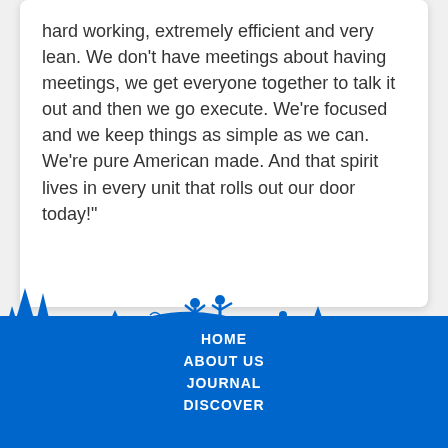hard working, extremely efficient and very lean. We don't have meetings about having meetings, we get everyone together to talk it out and then we go execute. We're focused and we keep things as simple as we can. We're pure American made. And that spirit lives in every unit that rolls out our door today!"
[Figure (illustration): Blue silhouette panorama of an outdoor camping/recreation scene with pine trees, a van with a rooftop carrier, people dancing and barbecuing, a tent, animals, and an SUV with roof rack, all against a blue background forming the footer.]
HOME
ABOUT US
JOURNAL
DISCOVER